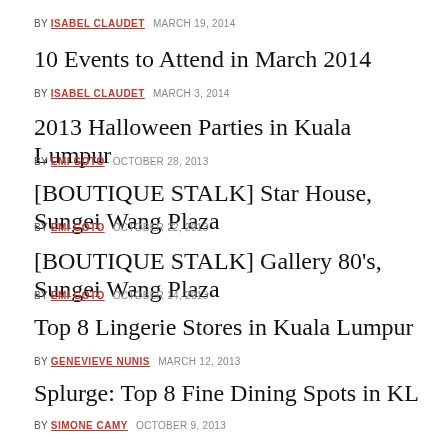BY ISABEL CLAUDET   MARCH 19, 2014
10 Events to Attend in March 2014
BY ISABEL CLAUDET   MARCH 3, 2014
2013 Halloween Parties in Kuala Lumpur
BY EMI GOTO   OCTOBER 28, 2013
[BOUTIQUE STALK] Star House, Sungei Wang Plaza
BY EMI GOTO   OCTOBER 22, 2013
[BOUTIQUE STALK] Gallery 80's, Sungei Wang Plaza
BY EMI GOTO   OCTOBER 14, 2013
Top 8 Lingerie Stores in Kuala Lumpur
BY GENEVIEVE NUNIS   MARCH 12, 2013
Splurge: Top 8 Fine Dining Spots in KL
BY SIMONE CAMY   OCTOBER 9, 2013